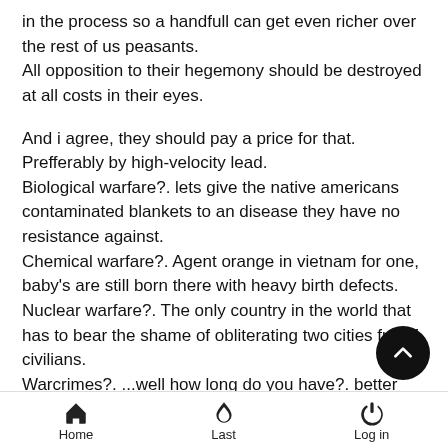in the process so a handfull can get even richer over the rest of us peasants.
All opposition to their hegemony should be destroyed at all costs in their eyes.
And i agree, they should pay a price for that. Prefferably by high-velocity lead.
Biological warfare?. lets give the native americans contaminated blankets to an disease they have no resistance against.
Chemical warfare?. Agent orange in vietnam for one, baby's are still born there with heavy birth defects.
Nuclear warfare?. The only country in the world that has to bear the shame of obliterating two cities full of civilians.
Warcrimes?. ...well how long do you have?. better call home to put your dinner in the fridge, you will be here for an while....
But, ...there are people in the U.S itself that know what is go on with their own government and speak out against this.
Home  Last  Log in